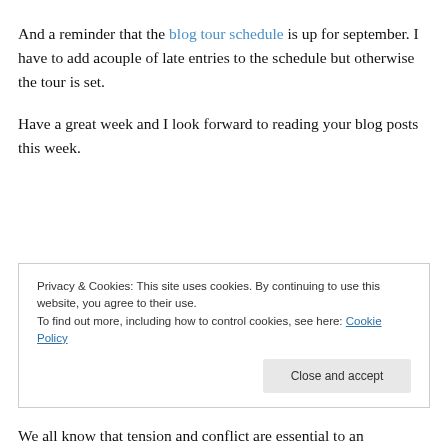And a reminder that the blog tour schedule is up for september. I have to add acouple of late entries to the schedule but otherwise the tour is set.
Have a great week and I look forward to reading your blog posts this week.
Privacy & Cookies: This site uses cookies. By continuing to use this website, you agree to their use. To find out more, including how to control cookies, see here: Cookie Policy
We all know that tension and conflict are essential to an